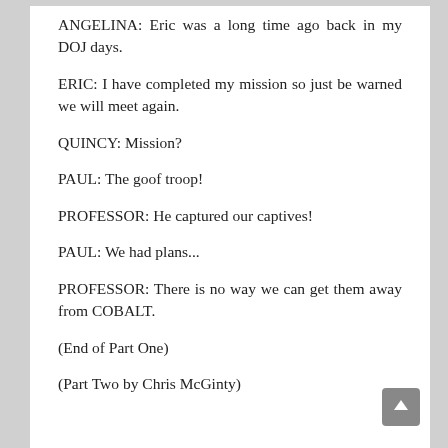ANGELINA: Eric was a long time ago back in my DOJ days.
ERIC: I have completed my mission so just be warned we will meet again.
QUINCY: Mission?
PAUL: The goof troop!
PROFESSOR: He captured our captives!
PAUL: We had plans...
PROFESSOR: There is no way we can get them away from COBALT.
(End of Part One)
(Part Two by Chris McGinty)